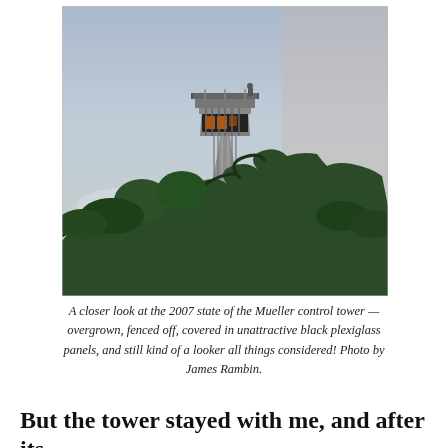[Figure (photo): A close-up photograph of the Mueller airport control tower in 2007. The tower is a tall concrete structure with a curved, waisted shape that widens at the top into a glassed observation cab with dark/black plexiglass panels. Orange light is visible inside the cab area. The tower rises above a hillside covered in dense green trees and shrubs. The sky is pale blue-grey with some light clouds and a pinkish hue on the right side suggesting dusk.]
A closer look at the 2007 state of the Mueller control tower — overgrown, fenced off, covered in unattractive black plexiglass panels, and still kind of a looker all things considered! Photo by James Rambin.
But the tower stayed with me, and after its